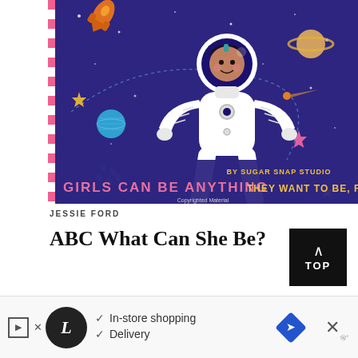[Figure (illustration): Book cover illustration: 'Girls Can Be Anything They Want to Be, From A to Z' by Sugar Snap Studio. Dark purple/navy background with a young girl astronaut floating in space, surrounded by rockets, stars, planets, and comets. Pink and white striped border on left. Title in pink and yellow text at bottom.]
JESSIE FORD
ABC What Can She Be?
Teach little ones their ABC's while exploring the many careers they could grow up to have... from engineer to writer...
[Figure (other): Advertisement banner: Logo circle with stylized 'L', checkmarks for 'In-store shopping' and 'Delivery', blue diamond navigation icon, close button with X]